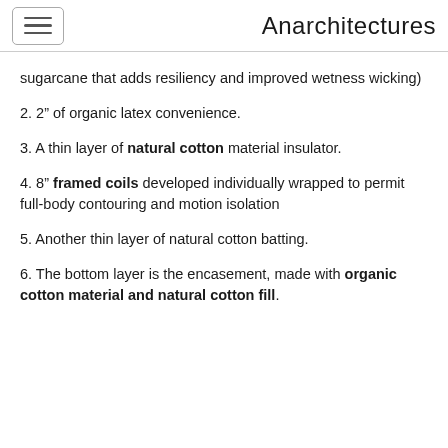Anarchitectures
sugarcane that adds resiliency and improved wetness wicking)
2. 2″ of organic latex convenience.
3. A thin layer of natural cotton material insulator.
4. 8″ framed coils developed individually wrapped to permit full-body contouring and motion isolation
5. Another thin layer of natural cotton batting.
6. The bottom layer is the encasement, made with organic cotton material and natural cotton fill.